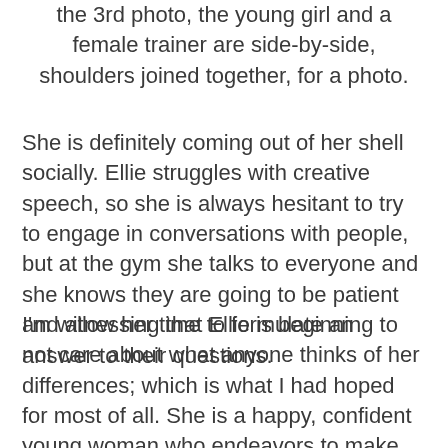the 3rd photo, the young girl and a female trainer are side-by-side, shoulders joined together, for a photo.
She is definitely coming out of her shell socially. Ellie struggles with creative speech, so she is always hesitant to try to engage in conversations with people, but at the gym she talks to everyone and she knows they are going to be patient and allow her time to formulate an answer to their questions.
I'm witnessing that Ellie is beginning to not care about what anyone thinks of her differences; which is what I had hoped for most of all.  She is a happy, confident young woman who endeavors to make everyone